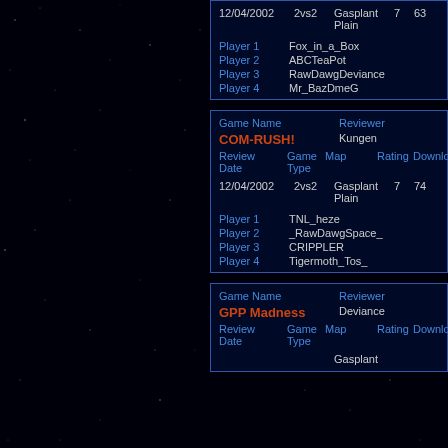| Review Date | Game Type | Map | Rating | Download |
| --- | --- | --- | --- | --- |
| 12/04/2002 | 2vs2 | Gasplant Plain | 7 | 63 |
Player 1  Fox_in_a_Box
Player 2  ABCTeaPot
Player 3  RawDawgDeviance
Player 4  Mr_BazDmeG
| Game Name | Reviewer |
| --- | --- |
| COM-RUSH! | Kungen |
| 12/04/2002 2vs2 Gasplant Plain 7 74 |  |
| Player 1  TNL_heze |  |
| Player 2  _RawDawgSpace_ |  |
| Player 3  CRIPPLER |  |
| Player 4  Tigermoth_Tos_ |  |
| Game Name | Reviewer |
| --- | --- |
| GPP Madness | Deviance |